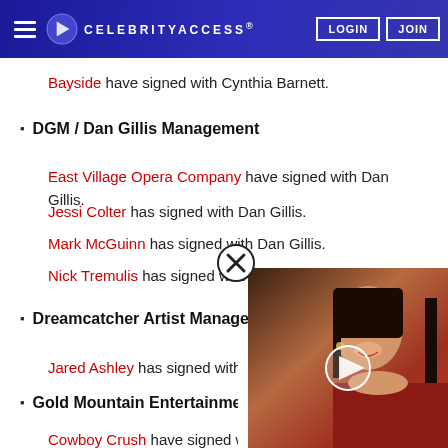CELEBRITYACCESS® | LOGIN | JOIN
Bayside have signed with Cynthia Barnett.
DGM / Dan Gillis Management
East Village Opera Company have signed with Dan Gillis.
Jessi Colter has signed with Dan Gillis.
Mark McGuinn has signed with Dan Gillis.
Nick Tremulis has signed with Dan Gillis.
Dreamcatcher Artist Management
Jared Ashley has signed with [Dreamcatcher Artist Management].
Gold Mountain Entertainment
Cowboy Crush have signed w[ith Gold Mountain Entertainment].
[Figure (photo): Video overlay thumbnail showing a smiling woman with dark hair wearing red, with a play button in the center and a close (X) button in the top right corner.]